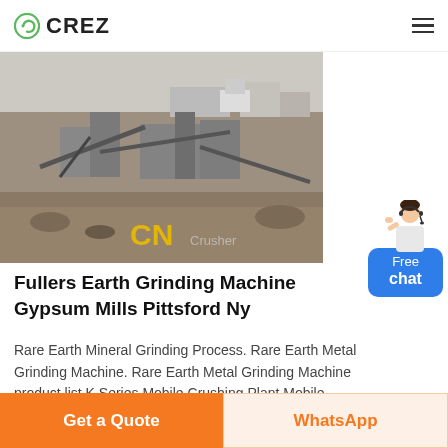CREZ
[Figure (photo): Aerial view of a large industrial crushing and grinding plant with conveyors, machinery, and earthworks. CN Crusher watermark visible at bottom.]
[Figure (illustration): Free chat widget with female customer service representative figure and blue rounded button reading 'Free chat']
Fullers Earth Grinding Machine Gypsum Mills Pittsford Ny
Rare Earth Mineral Grinding Process. Rare Earth Metal Grinding Machine. Rare Earth Metal Grinding Machine product list K Series Mobile Crushing Plant Mobile Vibrating Screen Belt Conveyor Sand Washing Machi...